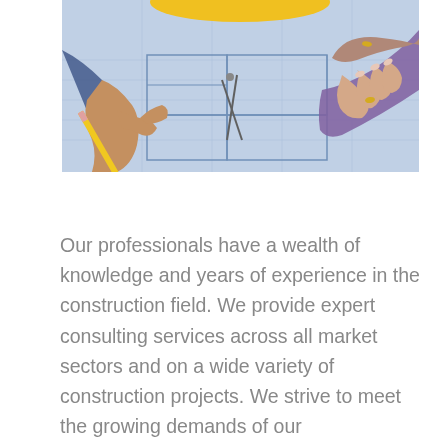[Figure (photo): Overhead photo of two people's hands pointing at and reviewing architectural blueprints/construction drawings on a table. A yellow pencil and a compass/drafting tool are visible on the blueprints. A yellow hard hat is partially visible at the top.]
Our professionals have a wealth of knowledge and years of experience in the construction field. We provide expert consulting services across all market sectors and on a wide variety of construction projects. We strive to meet the growing demands of our